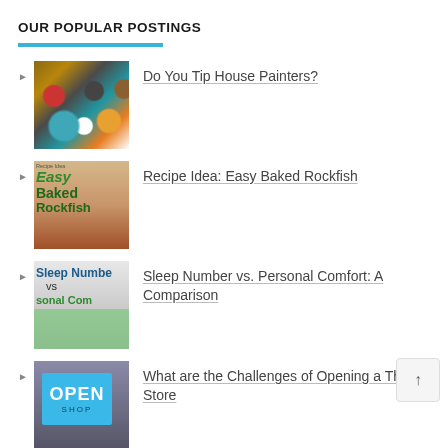OUR POPULAR POSTINGS
Do You Tip House Painters?
Recipe Idea: Easy Baked Rockfish
Sleep Number vs. Personal Comfort: A Comparison
What are the Challenges of Opening a Thrift Store
12 Companies You Didn't Know Offer Paid